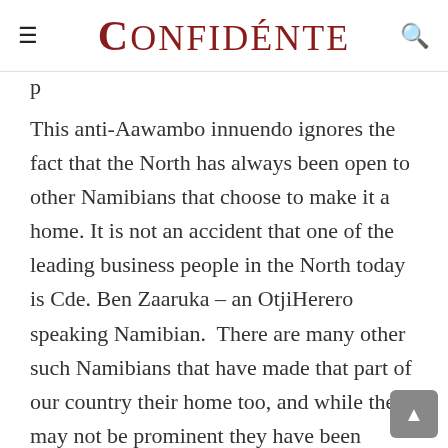Confidénte
p
This anti-Aawambo innuendo ignores the fact that the North has always been open to other Namibians that choose to make it a home. It is not an accident that one of the leading business people in the North today is Cde. Ben Zaaruka – an OtjiHerero speaking Namibian. There are many other such Namibians that have made that part of our country their home too, and while they may not be prominent they have been successful in their various professional pursuits without discrimination.